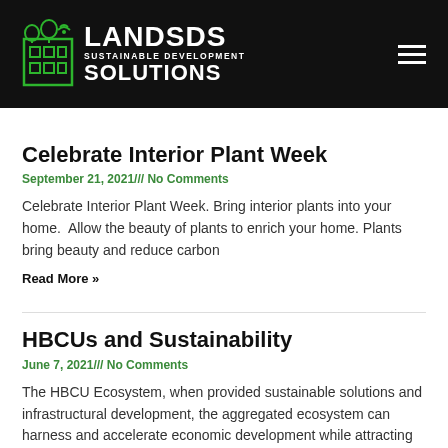[Figure (logo): LANDSDS Sustainable Development Solutions logo — green building icon on black background, white text]
Celebrate Interior Plant Week
September 21, 2021/// No Comments
Celebrate Interior Plant Week. Bring interior plants into your home.  Allow the beauty of plants to enrich your home. Plants bring beauty and reduce carbon
Read More »
HBCUs and Sustainability
June 7, 2021/// No Comments
The HBCU Ecosystem, when provided sustainable solutions and infrastructural development, the aggregated ecosystem can harness and accelerate economic development while attracting students and stakeholders to